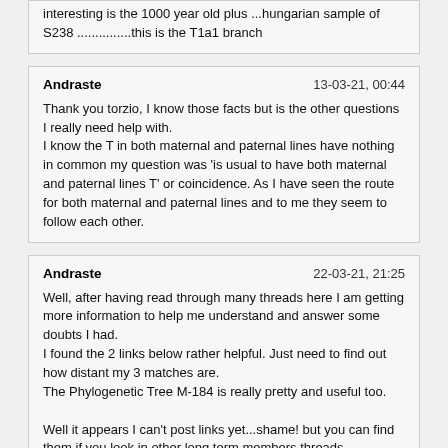interesting is the 1000 year old plus ...hungarian sample of S238 ...............this is the T1a1 branch
Andraste
13-03-21, 00:44
Thank you torzio, I know those facts but is the other questions I really need help with.
I know the T in both maternal and paternal lines have nothing in common my question was 'is usual to have both maternal and paternal lines T' or coincidence. As I have seen the route for both maternal and paternal lines and to me they seem to follow each other.
Andraste
22-03-21, 21:25
Well, after having read through many threads here I am getting more information to help me understand and answer some doubts I had.
I found the 2 links below rather helpful. Just need to find out how distant my 3 matches are.
The Phylogenetic Tree M-184 is really pretty and useful too.

Well it appears I can't post links yet...shame! but you can find them if you look in other long term members threads.
torzio
22-03-21, 22:41
Well, after having read through many threads here I am getting more information to help me understand and answer some doubts I had.
I found the 2 links below rather helpful. Just need to find out how distant my 3 matches are.
The Phylogenetic Tree M-184 is really pretty and useful too.

Well it appears I can't post links yet...shame! but you can find them if you look in other long term members threads.